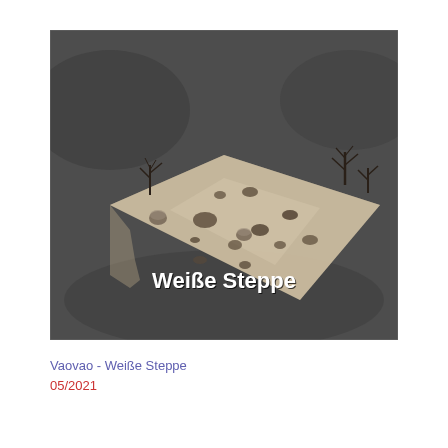[Figure (screenshot): 3D rendered game map tile showing a flat sandy terrain with sparse dark trees and rocks, with the text 'Weiße Steppe' in bold white font overlaid at the bottom center, on a dark gray background.]
Vaovao - Weiße Steppe
05/2021